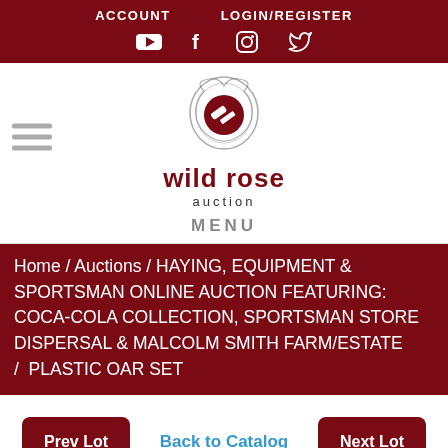ACCOUNT   LOGIN/REGISTER
[Figure (logo): Wild Rose Auction logo with auction hammer icon and social media icons (YouTube, Facebook, Instagram, Twitter)]
[Figure (logo): Wild Rose Auction logo: stylized rose outline with auction hammer inside, text 'wild rose auction']
MENU
Home / Auctions / HAYING, EQUIPMENT & SPORTSMAN ONLINE AUCTION FEATURING: COCA-COLA COLLECTION, SPORTSMAN STORE DISPERSAL & MALCOLM SMITH FARM/ESTATE /  PLASTIC OAR SET
Prev Lot   Back to Catalog   Next Lot